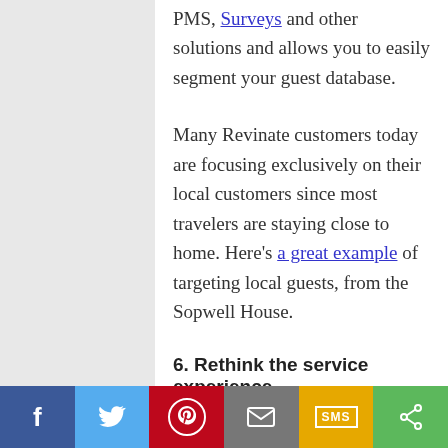PMS, Surveys and other solutions and allows you to easily segment your guest database.
Many Revinate customers today are focusing exclusively on their local customers since most travelers are staying close to home. Here's a great example of targeting local guests, from the Sopwell House.
6. Rethink the service experience
[Figure (infographic): Social sharing bar at the bottom with six buttons: Facebook (blue), Twitter (light blue), Pinterest (red), Email (grey), SMS (yellow/gold), Share (green)]